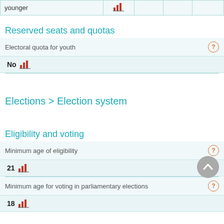| younger |  |  |  |  |
| --- | --- | --- | --- | --- |
| younger | [chart] |  |  |  |
Reserved seats and quotas
Electoral quota for youth
No [chart]
Elections > Election system
Eligibility and voting
Minimum age of eligibility
21 [chart]
Minimum age for voting in parliamentary elections
18 [chart]